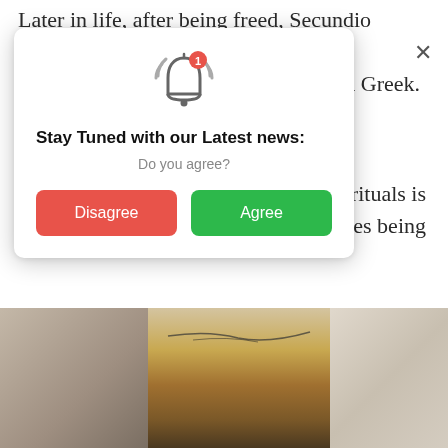Later in life, after being freed, Secundio became a well- … in and Greek. … se Greek rituals is … ormances being … ganized is … al climate which characterized ancient Pompeii," Gabriel Zuchtriegel, director of the Archaeological Park of Pompeii, said in a statement.
[Figure (screenshot): A browser notification popup modal. Contains a bell icon with a red badge showing '1', title 'Stay Tuned with our Latest news:', subtitle 'Do you agree?', and two buttons: a red 'Disagree' button and a green 'Agree' button. Has an X close button.]
[Figure (photo): Archaeological photograph showing stone/plaster material from ancient Pompeii excavation. Three-panel appearance: blurry beige/grey on left and right, center shows a brownish artifact or stone object against a cracked grey background.]